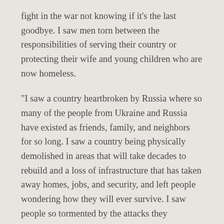fight in the war not knowing if it's the last goodbye. I saw men torn between the responsibilities of serving their country or protecting their wife and young children who are now homeless.
“I saw a country heartbroken by Russia where so many of the people from Ukraine and Russia have existed as friends, family, and neighbors for so long. I saw a country being physically demolished in areas that will take decades to rebuild and a loss of infrastructure that has taken away homes, jobs, and security, and left people wondering how they will ever survive. I saw people so tormented by the attacks they witnessed and were physically injured by that they may never fully recover from.”
Yet she also saw God working.